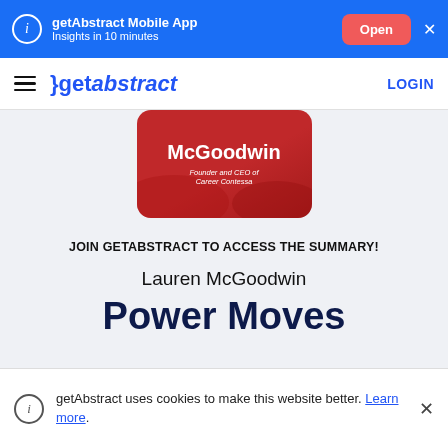getAbstract Mobile App – Insights in 10 minutes – Open
getabstract – LOGIN
[Figure (illustration): Red rounded card showing text: McGoodwin, Founder and CEO of Career Contessa]
JOIN GETABSTRACT TO ACCESS THE SUMMARY!
Lauren McGoodwin
Power Moves
getAbstract uses cookies to make this website better. Learn more.